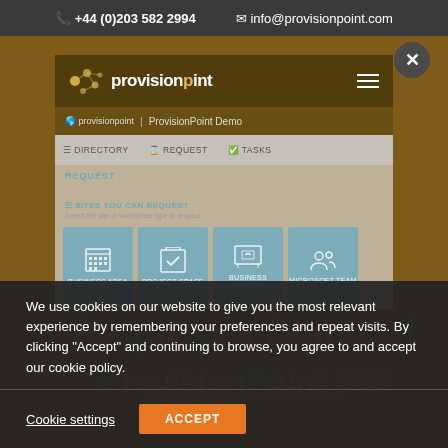+44 (0)203 582 2994   info@provisionpoint.com
[Figure (screenshot): ProvisionPoint web application interface showing navigation with Directory, Request, and Tasks tabs; Request section with Sites You Can Request showing four tiles: Business Area, Project Space, Business Location, Microsoft Team]
We use cookies on our website to give you the most relevant experience by remembering your preferences and repeat visits. By clicking "Accept" and continuing to browse, you agree to and accept our cookie policy.
Cookie settings   ACCEPT